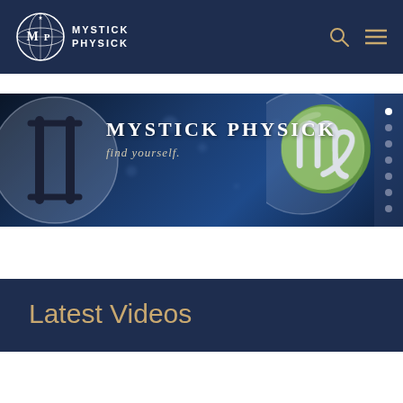[Figure (logo): Mystick Physick logo with circular emblem and text in white on dark navy header]
[Figure (illustration): Mystick Physick website banner with dark blue starry background, Gemini zodiac symbol circle on left, Virgo symbol on right, text 'MYSTICK PHYSiCK find yourself.' in white, navigation dots on far right]
Latest Videos